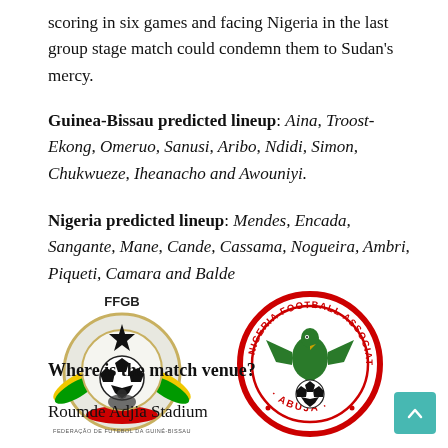scoring in six games and facing Nigeria in the last group stage match could condemn them to Sudan's mercy.
Guinea-Bissau predicted lineup: Aina, Troost-Ekong, Omeruo, Sanusi, Aribo, Ndidi, Simon, Chukwueze, Iheanacho and Awouniyi.
Nigeria predicted lineup: Mendes, Encada, Sangante, Mane, Cande, Cassama, Nogueira, Ambri, Piqueti, Camara and Balde
[Figure (logo): FFGB - Federação de Futebol da Guiné-Bissau logo showing a football with star and green/yellow/red decorative elements]
[Figure (logo): Nigeria Football Association logo - circular red badge with eagle on football, text NIGERIA FOOTBALL ASSOCIATION and ABUJA]
Where is the match venue?
Roumde Adjia Stadium